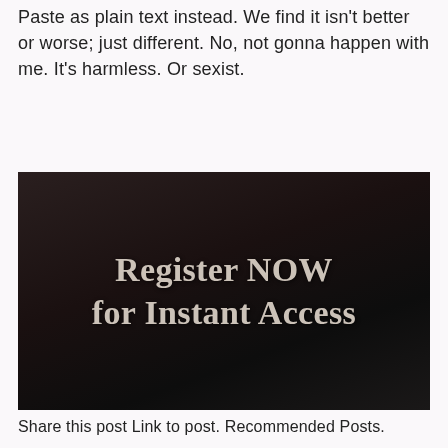Paste as plain text instead. We find it isn't better or worse; just different. No, not gonna happen with me. It's harmless. Or sexist.
[Figure (photo): Dark photograph with overlaid text reading 'Register NOW for Instant Access']
Share this post Link to post. Recommended Posts.